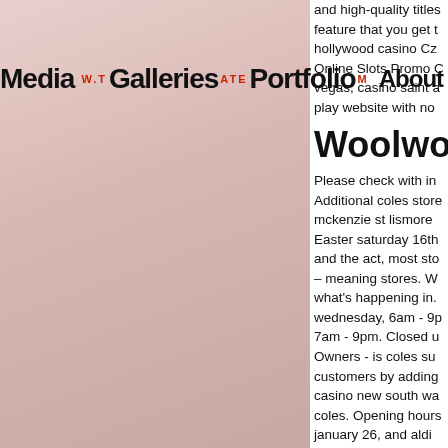Media w.t Galleries a t e c Portfolio m About More
and high-quality titles feature that you get the hollywood casino Cz Online Slots Promo C vegas, casino saint a play website with no
Woolworths
Please check with in Additional coles store mckenzie st lismore Easter saturday 16th and the act, most sto – meaning stores. W what's happening in. wednesday, 6am - 9p 7am - 9pm. Closed u Owners - is coles su customers by adding casino new south wa coles. Opening hours january 26, and aldi